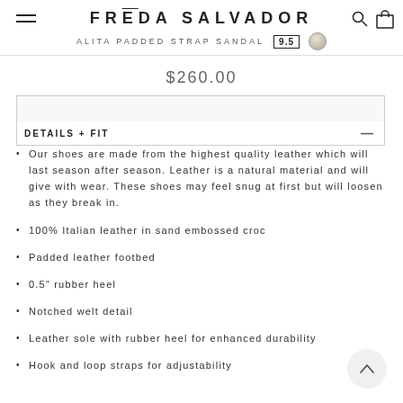FRĒDA SALVADOR  ALITA PADDED STRAP SANDAL  9.5
$260.00
DETAILS + FIT
Our shoes are made from the highest quality leather which will last season after season. Leather is a natural material and will give with wear. These shoes may feel snug at first but will loosen as they break in.
100% Italian leather in sand embossed croc
Padded leather footbed
0.5" rubber heel
Notched welt detail
Leather sole with rubber heel for enhanced durability
Hook and loop straps for adjustability